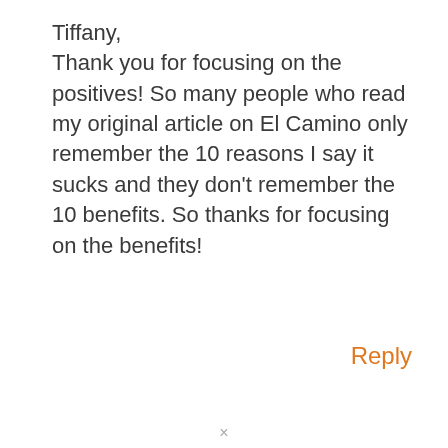Tiffany,
Thank you for focusing on the positives! So many people who read my original article on El Camino only remember the 10 reasons I say it sucks and they don't remember the 10 benefits. So thanks for focusing on the benefits!
Reply